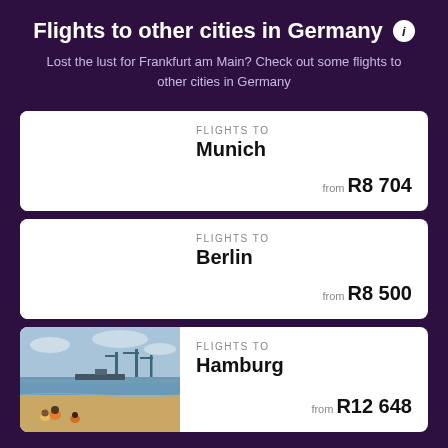Flights to other cities in Germany
Lost the lust for Frankfurt am Main? Check out some flights to other cities in Germany
FLIGHTS TO
Munich
from R8 704
FLIGHTS TO
Berlin
from R8 500
FLIGHTS TO
Hamburg
from R12 648